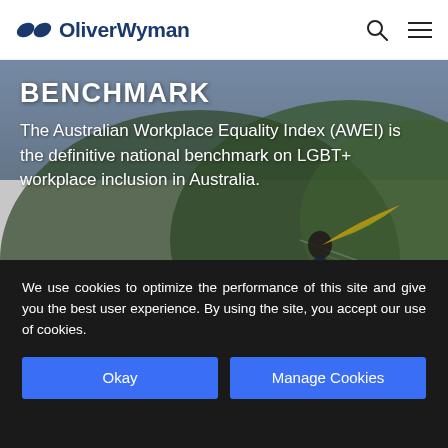[Figure (logo): Oliver Wyman logo with stylized double-arrow icon in dark blue, followed by 'OliverWyman' text in dark blue bold font]
[Figure (photo): Hero image showing a person standing on a rocky overlook holding a rainbow/pride flag, with mountainous green landscape below. Overlaid text reads BENCHMARK and a description of AWEI.]
BENCHMARK
The Australian Workplace Equality Index (AWEI) is the definitive national benchmark on LGBT+ workplace inclusion in Australia.
We use cookies to optimize the performance of this site and give you the best user experience. By using the site, you accept our use of cookies.